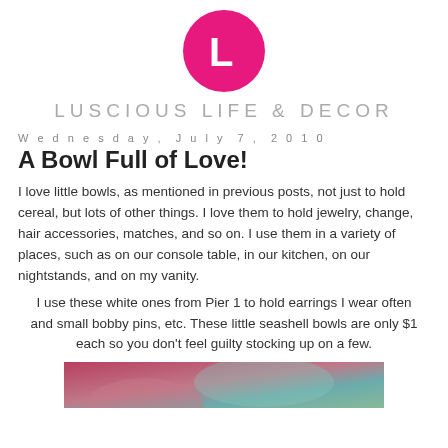[Figure (logo): Luscious Life & Decor logo: hot pink circle with white letter L, and brand name in grey spaced caps below]
Wednesday, July 7, 2010
A Bowl Full of Love!
I love little bowls, as mentioned in previous posts, not just to hold cereal, but lots of other things. I love them to hold jewelry, change, hair accessories, matches, and so on. I use them in a variety of places, such as on our console table, in our kitchen, on our nightstands, and on my vanity.
I use these white ones from Pier 1 to hold earrings I wear often and small bobby pins, etc. These little seashell bowls are only $1 each so you don't feel guilty stocking up on a few.
[Figure (photo): Partial photo of seashell bowls, cropped at bottom of page]